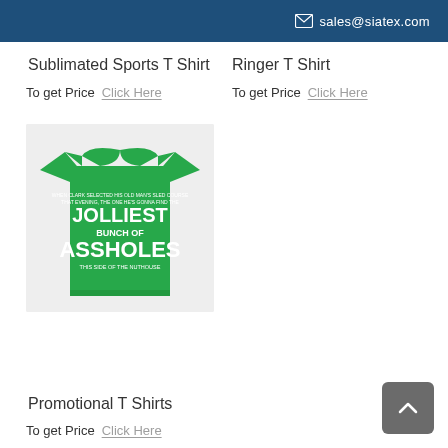sales@siatex.com
Sublimated Sports T Shirt
To get Price  Click Here
Ringer T Shirt
To get Price  Click Here
[Figure (photo): Green t-shirt with text: JOLLIEST BUNCH OF ASSHOLES THIS SIDE OF THE NUTHOUSE]
Promotional T Shirts
To get Price  Click Here